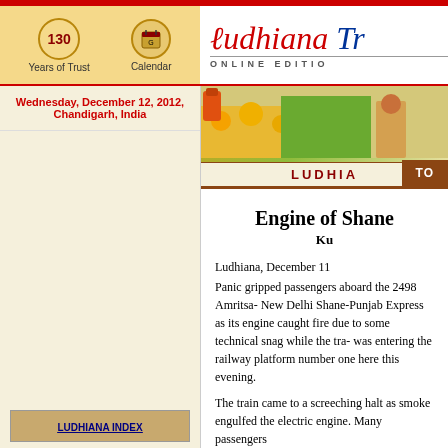Ludhiana Tribune ONLINE EDITION
130 Years of Trust  Calendar
Wednesday, December 12, 2012, Chandigarh, India
[Figure (photo): Banner photo with sunflowers, fields and a person in traditional attire labeled LUDHIANA]
LUDHIANA INDEX
TO
Engine of Shane-Punjab Express Catches Fire in Ludhiana
Ku
Ludhiana, December 11
Panic gripped passengers aboard the 2498 Amritsa- New Delhi Shane-Punjab Express as its engine caught fire due to some technical snag while the tra- was entering the railway platform number one here this evening.

The train came to a screeching halt as smoke engulfed the electric engine. Many passengers